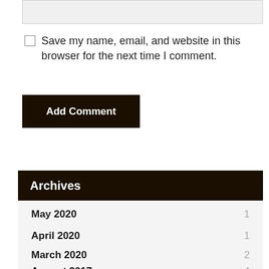Save my name, email, and website in this browser for the next time I comment.
Add Comment
Archives
May 2020  1
April 2020  1
March 2020  2
August 2017  4